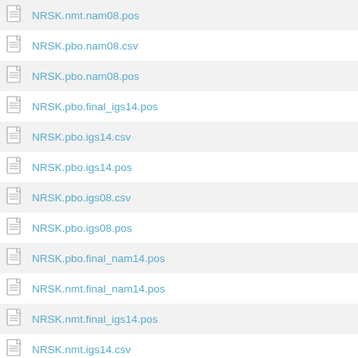NRSK.nmt.nam08.pos
NRSK.pbo.nam08.csv
NRSK.pbo.nam08.pos
NRSK.pbo.final_igs14.pos
NRSK.pbo.igs14.csv
NRSK.pbo.igs14.pos
NRSK.pbo.igs08.csv
NRSK.pbo.igs08.pos
NRSK.pbo.final_nam14.pos
NRSK.nmt.final_nam14.pos
NRSK.nmt.final_igs14.pos
NRSK.nmt.igs14.csv